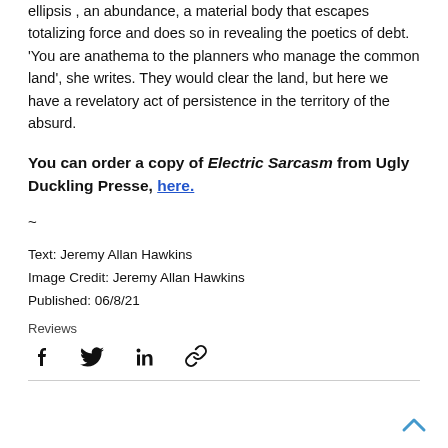ellipsis , an abundance, a material body that escapes totalizing force and does so in revealing the poetics of debt. ‘You are anathema to the planners who manage the common land’, she writes. They would clear the land, but here we have a revelatory act of persistence in the territory of the absurd.
You can order a copy of Electric Sarcasm from Ugly Duckling Presse, here.
~
Text: Jeremy Allan Hawkins
Image Credit: Jeremy Allan Hawkins
Published: 06/8/21
Reviews